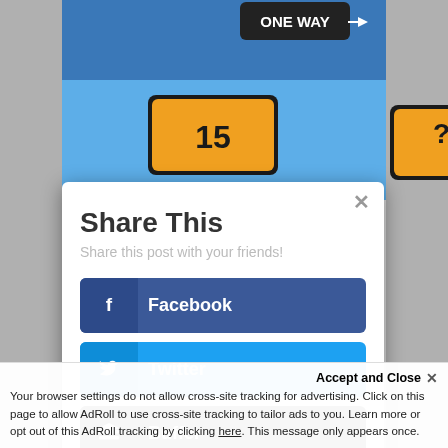[Figure (photo): A blue sky background with street signs including a black 'ONE WAY' sign and two yellow/orange decorative city signs with numbers]
Share This
Share this post with your friends!
Facebook
Twitter
Buffer
LinkedIn
Accept and Close ×
Your browser settings do not allow cross-site tracking for advertising. Click on this page to allow AdRoll to use cross-site tracking to tailor ads to you. Learn more or opt out of this AdRoll tracking by clicking here. This message only appears once.